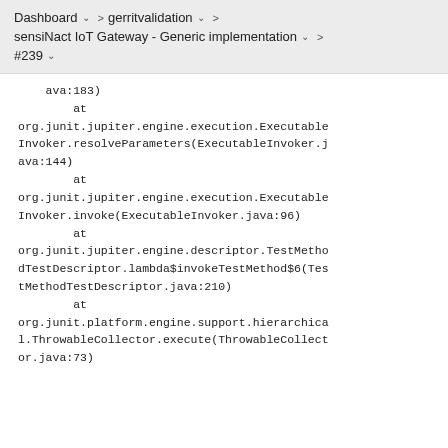Dashboard > gerritvalidation > sensiNact IoT Gateway - Generic implementation > #239
ava:183)
        at
org.junit.jupiter.engine.execution.ExecutableInvoker.resolveParameters(ExecutableInvoker.java:144)
        at
org.junit.jupiter.engine.execution.ExecutableInvoker.invoke(ExecutableInvoker.java:96)
        at
org.junit.jupiter.engine.descriptor.TestMethodTestDescriptor.lambda$invokeTestMethod$6(TestMethodTestDescriptor.java:210)
        at
org.junit.platform.engine.support.hierarchical.ThrowableCollector.execute(ThrowableCollector.java:73)